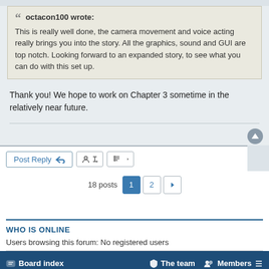octacon100 wrote: This is really well done, the camera movement and voice acting really brings you into the story. All the graphics, sound and GUI are top notch. Looking forward to an expanded story, to see what you can do with this set up.
Thank you! We hope to work on Chapter 3 sometime in the relatively near future.
18 posts  1  2
WHO IS ONLINE
Users browsing this forum: No registered users
Board index   The team   Members
Style developed by forum tricolor, Powered by phpBB® Forum Software © phpBB Limited GZIP: On | Load: 0.53